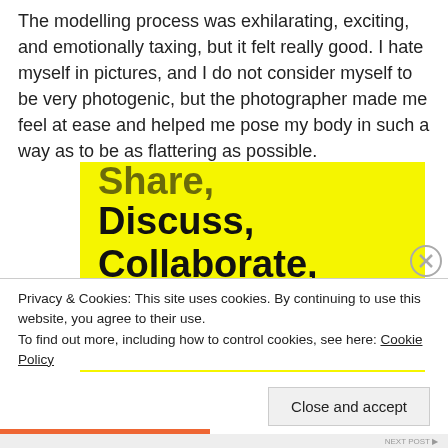The modelling process was exhilarating, exciting, and emotionally taxing, but it felt really good. I hate myself in pictures, and I do not consider myself to be very photogenic, but the photographer made me feel at ease and helped me pose my body in such a way as to be as flattering as possible.
[Figure (screenshot): Yellow promotional image with bold black text reading 'Share, Discuss, Collaborate, P2.' (top text partially cut off showing 'Share,'), with 'Powered by WordPress' logo in bottom right corner]
Privacy & Cookies: This site uses cookies. By continuing to use this website, you agree to their use.
To find out more, including how to control cookies, see here: Cookie Policy
Close and accept